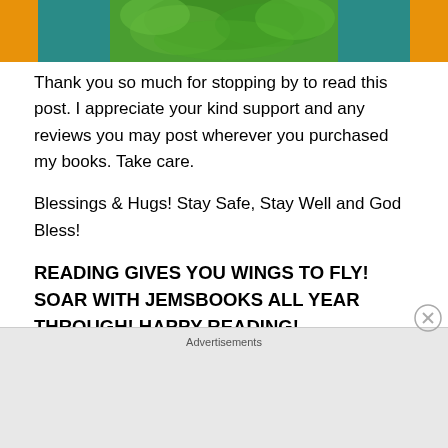[Figure (photo): Header image with orange sides and teal background with green fern/tree foliage in center]
Thank you so much for stopping by to read this post. I appreciate your kind support and any reviews you may post wherever you purchased my books. Take care.
Blessings & Hugs! Stay Safe, Stay Well and God Bless!
READING GIVES YOU WINGS TO FLY! SOAR WITH JEMSBOOKS ALL YEAR THROUGH! HAPPY READING!
Janice Spina aka J.E. Spina
Award-Winning Author
Advertisements